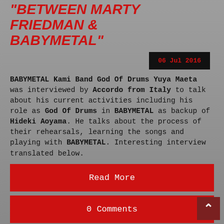between Marty Friedman & BABYMETAL"
06 Jul 2016
BABYMETAL Kami Band God Of Drums Yuya Maeta was interviewed by Accordo from Italy to talk about his current activities including his role as God Of Drums in BABYMETAL as backup of Hideki Aoyama. He talks about the process of their rehearsals, learning the songs and playing with BABYMETAL. Interesting interview translated below.
Read More
0 Comments